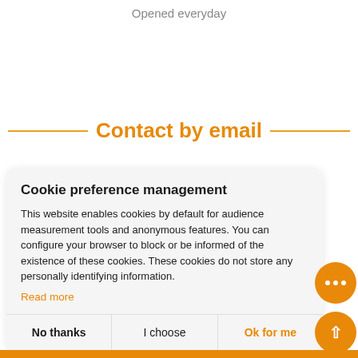Opened everyday
Contact by email
Cookie preference management
This website enables cookies by default for audience measurement tools and anonymous features. You can configure your browser to block or be informed of the existence of these cookies. These cookies do not store any personally identifying information.
Read more
No thanks
I choose
Ok for me